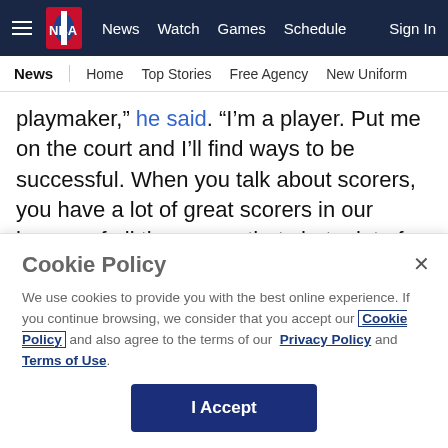NBA | News | Watch | Games | Schedule | Sign In
News | Home | Top Stories | Free Agency | New Uniform
playmaker,” he said. “I’m a player. Put me on the court and I’ll find ways to be successful. When you talk about scorers, you have a lot of great scorers in our league of all time, guys that shot a lot of shots, volume shooters that score the ball at a high clip. I’m not one of those guys. I’m a guy that always got happy and excited in seeing my team be
Cookie Policy
We use cookies to provide you with the best online experience. If you continue browsing, we consider that you accept our Cookie Policy and also agree to the terms of our Privacy Policy and Terms of Use.
I Accept